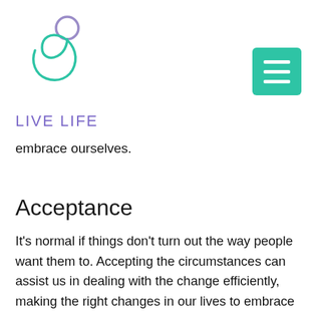[Figure (logo): Live Life logo with circular spiral figure in purple and teal above the text LIVE LIFE in purple]
embrace ourselves.
Acceptance
It's normal if things don't turn out the way people want them to. Accepting the circumstances can assist us in dealing with the change efficiently, making the right changes in our lives to embrace the change, and moving forward after the occurrence. Accepting a circumstance does not imply surrendering; rather, it indicates that you have faith in your potential to persevere. And that is what adaptability entails: getting a little disoriented but then figuring out how to move forward.